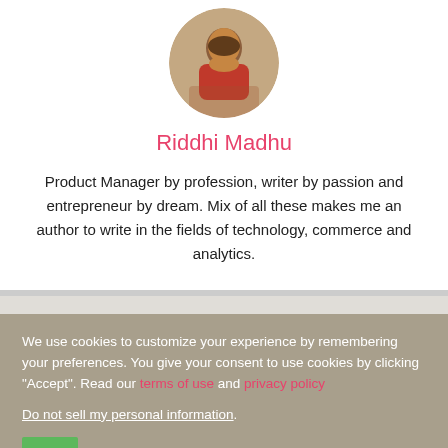[Figure (photo): Circular profile photo of Riddhi Madhu, a young woman wearing a red outfit, sitting indoors]
Riddhi Madhu
Product Manager by profession, writer by passion and entrepreneur by dream. Mix of all these makes me an author to write in the fields of technology, commerce and analytics.
We use cookies to customize your experience by remembering your preferences. You give your consent to use cookies by clicking “Accept”. Read our terms of use and privacy policy
Do not sell my personal information.